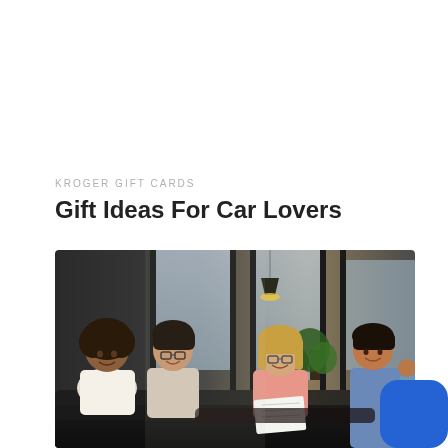KROGER GIFT CARDS
Gift Ideas For Car Lovers
[Figure (photo): Group of four young adults sitting together in a modern cafe or lounge, laughing and socializing. One person holds a document. A pendant lamp hangs from above, and a plant is visible in the background.]